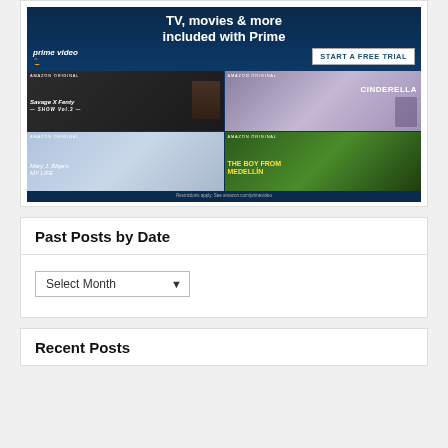[Figure (illustration): Amazon Prime Video advertisement banner showing TV, movies & more included with Prime. Features 'prime video' logo with arrow, a 'START A FREE TRIAL' button, and a 2x2 grid of Amazon Original show thumbnails: Savage X Fenty Show Vol 3, Cinderella, Mary J. Blige's My Life, and The Boy From Medellin. Restrictions note at bottom.]
Past Posts by Date
Select Month
Recent Posts